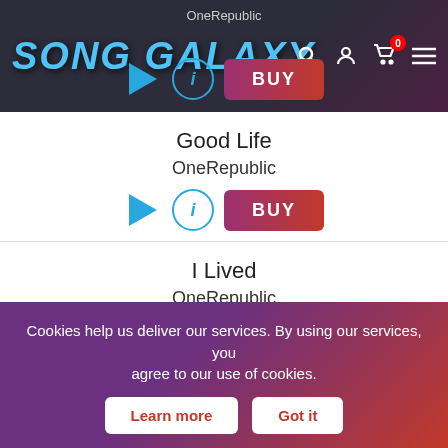Song Galaxy — OneRepublic
Good Life
OneRepublic
I Lived
OneRepublic
Kids
Cookies help us deliver our services. By using our services, you agree to our use of cookies.